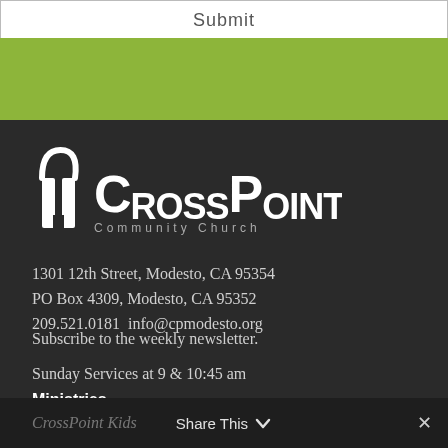Submit
[Figure (logo): CrossPoint Community Church logo — two stylized white cross/pillar icons beside the text 'CrossPoint Community Church' in white on dark background]
1301 12th Street, Modesto, CA 95354
PO Box 4309, Modesto, CA 95352
209.521.0181  info@cpmodesto.org
Subscribe to the weekly newsletter.
Sunday Services at 9 & 10:45 am
Ministries
CrossPoint Kids
Share This ∨   ✕